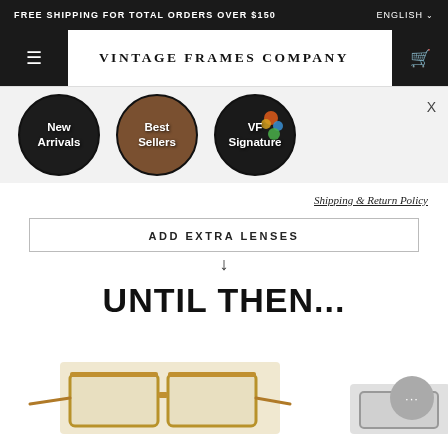FREE SHIPPING FOR TOTAL ORDERS OVER $150    ENGLISH
VINTAGE FRAMES COMPANY
[Figure (screenshot): Three circular navigation buttons: 'New Arrivals' with dark portrait background, 'Best Sellers' with warm brown background, 'VF Signature' with colorful dots background]
Shipping & Return Policy
ADD EXTRA LENSES
UNTIL THEN...
[Figure (photo): Photo of vintage gold-framed eyeglasses on the left, and what appears to be another pair on the right edge]